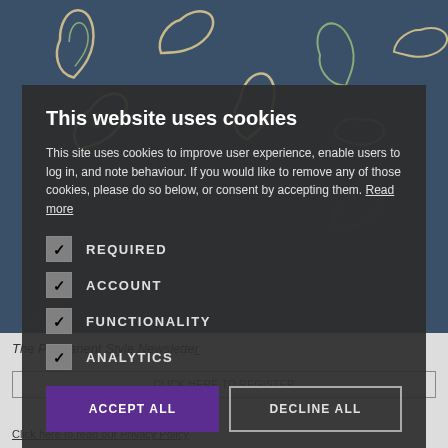[Figure (photo): Blue paisley fabric pattern background with swirling teardrop motifs in beige, green, and dark outlines on a navy blue background]
This website uses cookies
This site uses cookies to improve user experience, enable users to log in, and note behaviour. If you would like to remove any of those cookies, please do so below, or consent by accepting them. Read more
REQUIRED (checked)
ACCOUNT (checked)
FUNCTIONALITY (checked)
ANALYTICS (checked)
ACCEPT ALL
DECLINE ALL
Click here to read our Privacy Policy